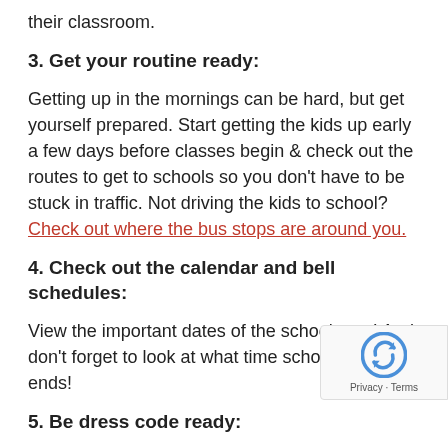their classroom.
3. Get your routine ready:
Getting up in the mornings can be hard, but get yourself prepared. Start getting the kids up early a few days before classes begin & check out the routes to get to schools so you don't have to be stuck in traffic. Not driving the kids to school? Check out where the bus stops are around you.
4. Check out the calendar and bell schedules:
View the important dates of the school year! And don't forget to look at what time school starts and ends!
5. Be dress code ready: